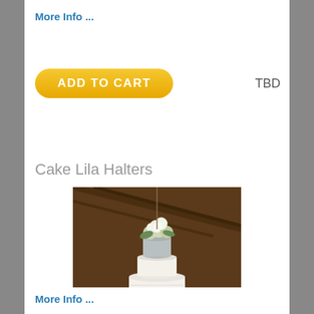More Info ...
ADD TO CART
TBD
Cake Lila Halters
[Figure (photo): A multi-tiered white wedding cake decorated with white flowers on top, displayed on a stand with small white gift boxes at the base, in a rustic barn setting with framed photos in the background.]
More Info ...